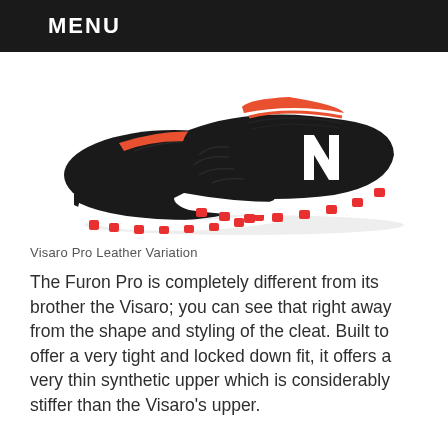MENU
[Figure (photo): Black and red New Balance Visaro Pro Leather soccer cleat with white 'N' logo, white sole, and red cleats/studs on bottom. Two shoes shown overlapping.]
Visaro Pro Leather Variation
The Furon Pro is completely different from its brother the Visaro; you can see that right away from the shape and styling of the cleat. Built to offer a very tight and locked down fit, it offers a very thin synthetic upper which is considerably stiffer than the Visaro's upper.